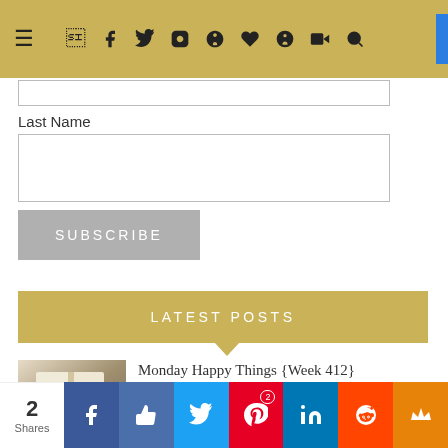≡ f twitter instagram pinterest ♥ g+ youtube search
Last Name
[Figure (screenshot): Last Name input text field (empty)]
[Figure (screenshot): Subscribe button (grey)]
LATEST POSTS
[Figure (photo): Open book with illustrated content on sandy background]
Monday Happy Things {Week 412}
September 5, 2022
[Figure (photo): Partial image of Maize Maze article thumbnail]
Exploring the Maize Maze at
[Figure (screenshot): Social sharing bar with Facebook, Like, Twitter, Pinterest (2), LinkedIn, Reddit, Crown icons]